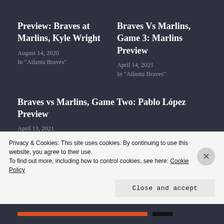Preview: Braves at Marlins, Kyle Wright
August 14, 2020
In "Atlanta Braves"
Braves Vs Marlins, Game 3: Marlins Preview
April 14, 2021
In "Atlanta Braves"
Braves vs Marlins, Game Two: Pablo López Preview
April 13, 2021
Privacy & Cookies: This site uses cookies. By continuing to use this website, you agree to their use.
To find out more, including how to control cookies, see here: Cookie Policy
Close and accept